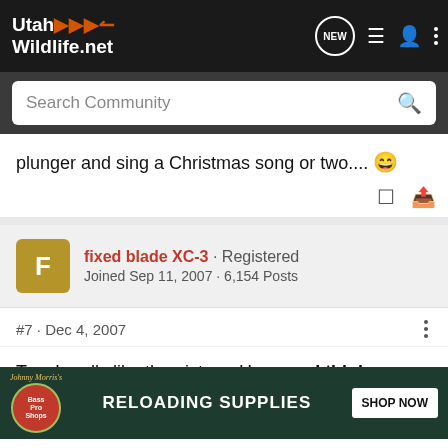UtahWildlife.net
Search Community
plunger and sing a Christmas song or two.... 😄
fixed blade XC-3 · Registered
Joined Sep 11, 2007 · 6,154 Posts
#7 · Dec 4, 2007
Tye, I really like the picture. However I think something is wrong w... or have you vi...